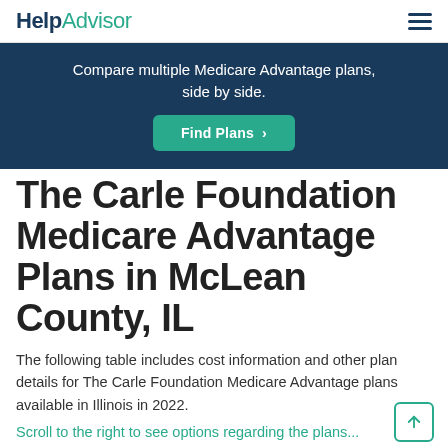HelpAdvisor
Compare multiple Medicare Advantage plans, side by side.
Find Plans >
The Carle Foundation Medicare Advantage Plans in McLean County, IL
The following table includes cost information and other plan details for The Carle Foundation Medicare Advantage plans available in Illinois in 2022.
Scroll to the right to see options regarding the plans...